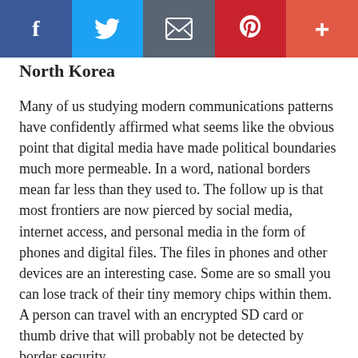[Figure (screenshot): Social media sharing bar with Facebook (blue), Twitter (light blue), Email (dark gray), Pinterest (red), and More/Plus (orange-red) buttons]
North Korea
Many of us studying modern communications patterns have confidently affirmed what seems like the obvious point that digital media have made political boundaries much more permeable. In a word, national borders mean far less than they used to. The follow up is that most frontiers are now pierced by social media, internet access, and personal media in the form of phones and digital files. The files in phones and other devices are an interesting case. Some are so small you can lose track of their tiny memory chips within them. A person can travel with an encrypted SD card or thumb drive that will probably not be detected by border security.
It was easier for totalitarian regimes at the height of the cold war to jam short wave broadcasts or confiscate the